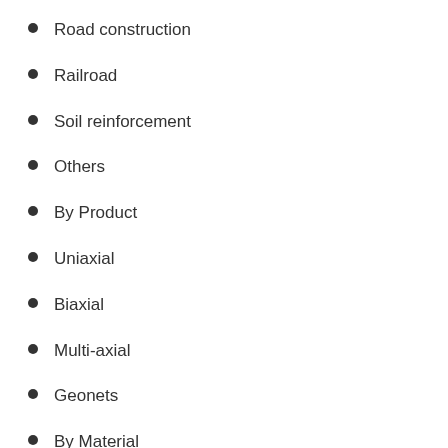Road construction
Railroad
Soil reinforcement
Others
By Product
Uniaxial
Biaxial
Multi-axial
Geonets
By Material